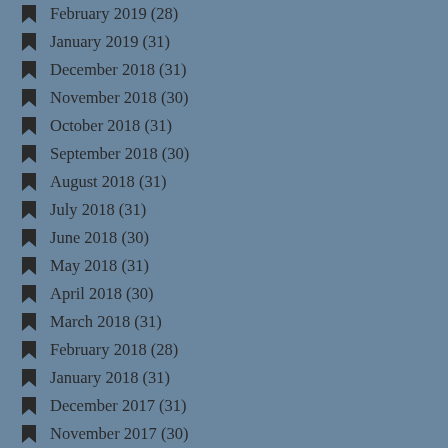February 2019 (28)
January 2019 (31)
December 2018 (31)
November 2018 (30)
October 2018 (31)
September 2018 (30)
August 2018 (31)
July 2018 (31)
June 2018 (30)
May 2018 (31)
April 2018 (30)
March 2018 (31)
February 2018 (28)
January 2018 (31)
December 2017 (31)
November 2017 (30)
October 2017 (31)
September 2017 (30)
August 2017 (31)